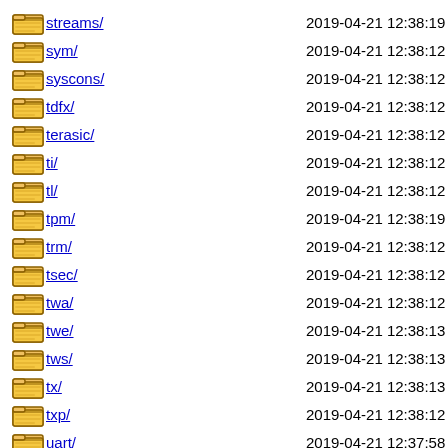streams/ 2019-04-21 12:38:19
sym/ 2019-04-21 12:38:12
syscons/ 2019-04-21 12:38:12
tdfx/ 2019-04-21 12:38:12
terasic/ 2019-04-21 12:38:12
ti/ 2019-04-21 12:38:12
tl/ 2019-04-21 12:38:12
tpm/ 2019-04-21 12:38:19
trm/ 2019-04-21 12:38:12
tsec/ 2019-04-21 12:38:12
twa/ 2019-04-21 12:38:12
twe/ 2019-04-21 12:38:13
tws/ 2019-04-21 12:38:13
tx/ 2019-04-21 12:38:13
txp/ 2019-04-21 12:38:12
uart/ 2019-04-21 12:37:58